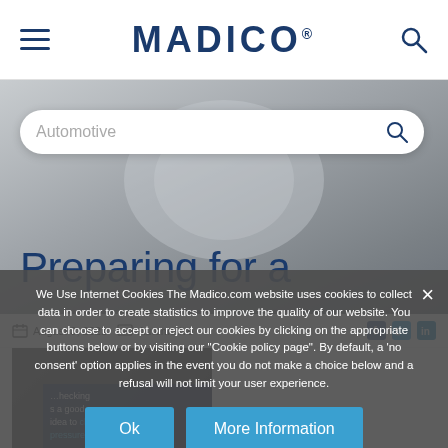[Figure (logo): Madico logo with hamburger menu icon on left and search icon on right in white header bar]
[Figure (screenshot): Hero background image with automotive/building scene, search bar showing 'Automotive', and large title text 'Preparing for a']
August 3, 2021   Automotive
We Use Internet Cookies The Madico.com website uses cookies to collect data in order to create statistics to improve the quality of our website. You can choose to accept or reject our cookies by clicking on the appropriate buttons below or by visiting our "Cookie policy page". By default, a 'no consent' option applies in the event you do not make a choice below and a refusal will not limit your user experience.
Ok
More Information